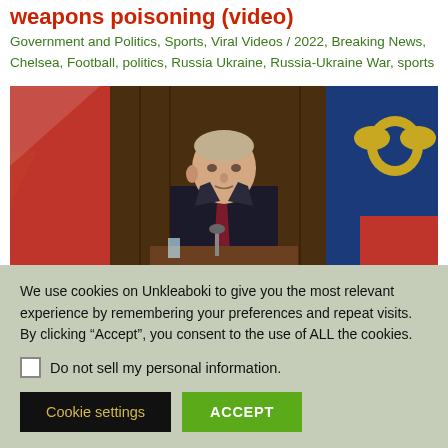weapons poisoning (video)
Government and Politics, Sports, Viral Videos / 2022, Breaking News, Chelsea, Football, politics, Russia Ukraine, Russia-Ukraine War, sports
[Figure (photo): Photo of Vladimir Putin seated at a desk giving a televised address, with Russian flags and a Russian state emblem visible in the background.]
We use cookies on Unkleaboki to give you the most relevant experience by remembering your preferences and repeat visits. By clicking "Accept", you consent to the use of ALL the cookies.